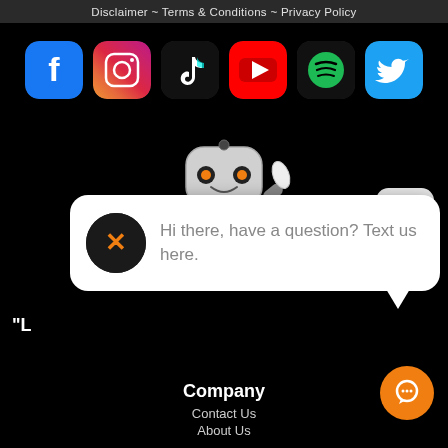Disclaimer ~ Terms & Conditions ~ Privacy Policy
[Figure (illustration): Row of 6 social media app icons: Facebook, Instagram, TikTok, YouTube, Spotify, Twitter, displayed as rounded square icons on dark background]
[Figure (illustration): 3D robot mascot character in white and dark colors with orange eyes, waving one hand, wearing a chest plate with an X logo]
close
[Figure (illustration): Chat bubble popup with circular black logo featuring orange X chevron icon on left, and gray text 'Hi there, have a question? Text us here.' on right]
"L
Company
Contact Us
About Us